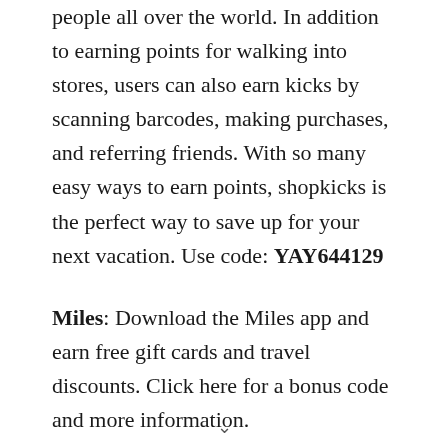people all over the world. In addition to earning points for walking into stores, users can also earn kicks by scanning barcodes, making purchases, and referring friends. With so many easy ways to earn points, shopkicks is the perfect way to save up for your next vacation. Use code: YAY644129
Miles: Download the Miles app and earn free gift cards and travel discounts. Click here for a bonus code and more information.
Use Customer Loyalty Sites and Apps: When